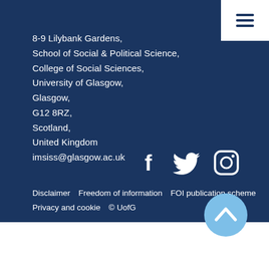[Figure (other): Hamburger menu button (three horizontal lines) in white box at top right]
8-9 Lilybank Gardens,
School of Social & Political Science,
College of Social Sciences,
University of Glasgow,
Glasgow,
G12 8RZ,
Scotland,
United Kingdom
imsiss@glasgow.ac.uk
[Figure (illustration): Social media icons: Facebook, Twitter, Instagram — white on dark blue background]
Disclaimer   Freedom of information   FOI publication scheme
Privacy and cookie   © UofG